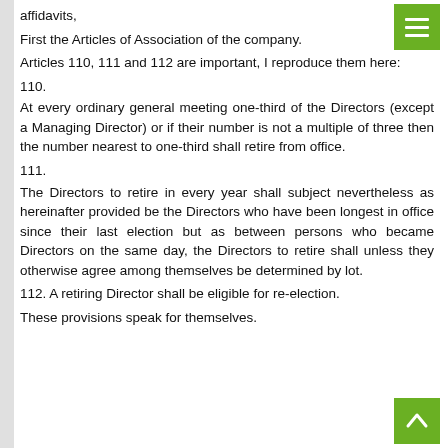affidavits,
First the Articles of Association of the company.
Articles 110, 111 and 112 are important, I reproduce them here:
110.
At every ordinary general meeting one-third of the Directors (except a Managing Director) or if their number is not a multiple of three then the number nearest to one-third shall retire from office.
111.
The Directors to retire in every year shall subject nevertheless as hereinafter provided be the Directors who have been longest in office since their last election but as between persons who became Directors on the same day, the Directors to retire shall unless they otherwise agree among themselves be determined by lot.
112. A retiring Director shall be eligible for re-election.
These provisions speak for themselves.